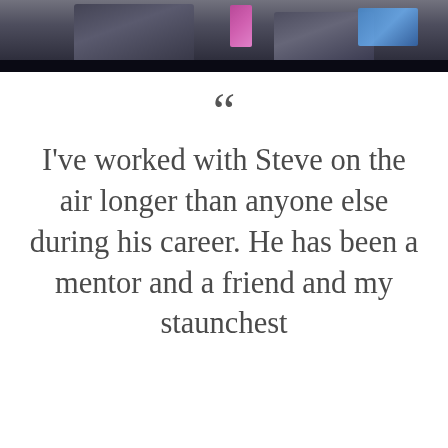[Figure (photo): A television broadcast scene showing two people in suits on a studio set with a colorful banner and blue screen in the background.]
““ I've worked with Steve on the air longer than anyone else during his career. He has been a mentor and a friend and my staunchest